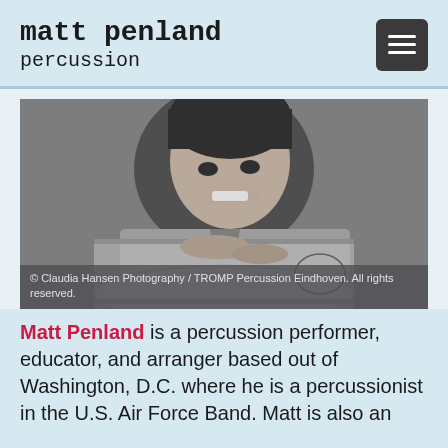matt penland
percussion
[Figure (photo): Black and white photo of Matt Penland smiling and resting his chin/hands on a drum. Caption reads: © Claudia Hansen Photography / TROMP Percussion Eindhoven. All rights reserved.]
© Claudia Hansen Photography / TROMP Percussion Eindhoven. All rights reserved.
Matt Penland is a percussion performer, educator, and arranger based out of Washington, D.C. where he is a percussionist in the U.S. Air Force Band. Matt is also an